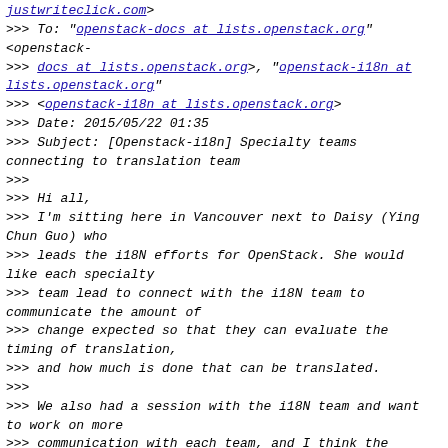justwriteclick.com>
>>> To: "openstack-docs at lists.openstack.org"
<openstack-
>>> docs at lists.openstack.org>, "openstack-i18n at lists.openstack.org"
>>> <openstack-i18n at lists.openstack.org>
>>> Date: 2015/05/22 01:35
>>> Subject: [Openstack-i18n] Specialty teams connecting to translation team
>>>
>>> Hi all,
>>> I'm sitting here in Vancouver next to Daisy (Ying Chun Guo) who
>>> leads the i18N efforts for OpenStack. She would like each specialty
>>> team lead to connect with the i18N team to communicate the amount of
>>> change expected so that they can evaluate the timing of translation,
>>> and how much is done that can be translated.
>>>
>>> We also had a session with the i18N team and want to work on more
>>> communication with each team, and I think the specialty team leads
>>> are a great way to start that effort.
>>>
>>> Thoughts or ideas? Let us know.
>>> Thanks,
>>> Anne